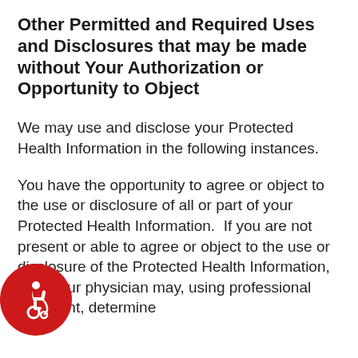Other Permitted and Required Uses and Disclosures that may be made without Your Authorization or Opportunity to Object
We may use and disclose your Protected Health Information in the following instances.
You have the opportunity to agree or object to the use or disclosure of all or part of your Protected Health Information.  If you are not present or able to agree or object to the use or disclosure of the Protected Health Information, then your physician may, using professional judgment, determine whether the disclosure is in your best